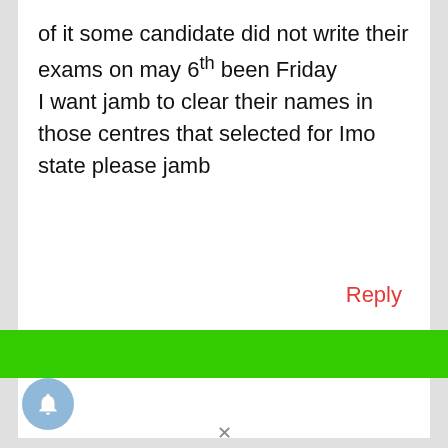of it some candidate did not write their exams on may 6th been Friday I want jamb to clear their names in those centres that selected for Imo state please jamb
Reply